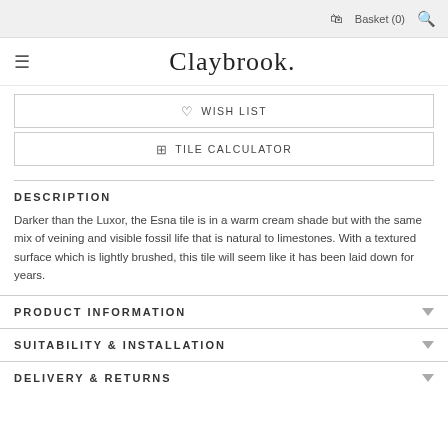Basket (0)
Claybrook.
WISH LIST
TILE CALCULATOR
DESCRIPTION
Darker than the Luxor, the Esna tile is in a warm cream shade but with the same mix of veining and visible fossil life that is natural to limestones. With a textured surface which is lightly brushed, this tile will seem like it has been laid down for years.
PRODUCT INFORMATION
SUITABILITY & INSTALLATION
DELIVERY & RETURNS